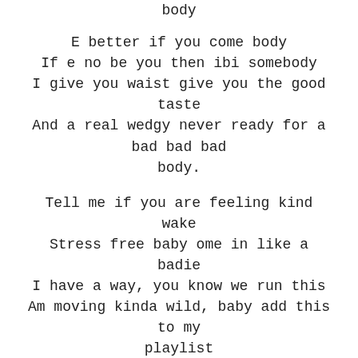body
E better if you come body
If e no be you then ibi somebody
I give you waist give you the good taste
And a real wedgy never ready for a bad bad bad body.
Tell me if you are feeling kind wake
Stress free baby ome in like a badie
I have a way, you know we run this
Am moving kinda wild, baby add this to my playlist
If want my body, i will give you night and day
Even when i cant see you are my light bae
Baby calm down, i love the way you go o down